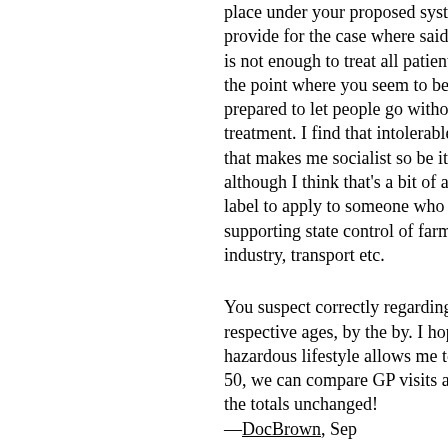place under your proposed syste... provide for the case where said ... is not enough to treat all patients... the point where you seem to be ... prepared to let people go without treatment. I find that intolerable a... that makes me socialist so be it, although I think that's a bit of a b... label to apply to someone who is... supporting state control of farmin... industry, transport etc.
You suspect correctly regarding ... respective ages, by the by. I hop... hazardous lifestyle allows me to ... 50, we can compare GP visits a... the totals unchanged!
—DocBrown, Sep
From 2004 Congress of Cities ☐ Indianapolis, Indiana ☐ Decembe... 2004: "WHEREAS, the costs … a being exacerbated by cost shifts ... under payments for health servic... Medicare, Medicaid and the grow... number of uninsured."
Point being, the cities want to be...